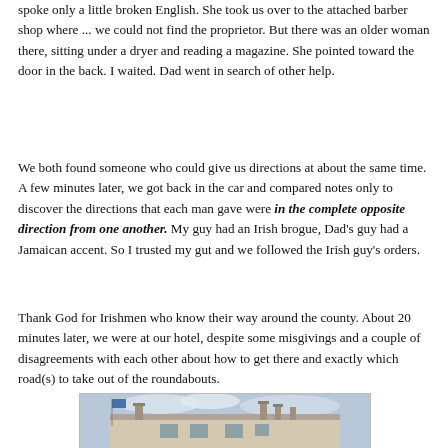spoke only a little broken English. She took us over to the attached barber shop where ... we could not find the proprietor. But there was an older woman there, sitting under a dryer and reading a magazine. She pointed toward the door in the back. I waited. Dad went in search of other help.
We both found someone who could give us directions at about the same time. A few minutes later, we got back in the car and compared notes only to discover the directions that each man gave were in the complete opposite direction from one another. My guy had an Irish brogue, Dad's guy had a Jamaican accent. So I trusted my gut and we followed the Irish guy's orders.
Thank God for Irishmen who know their way around the county. About 20 minutes later, we were at our hotel, despite some misgivings and a couple of disagreements with each other about how to get there and exactly which road(s) to take out of the roundabouts.
[Figure (photo): Photo of a hotel building exterior with chimneys, a flag, and cloudy sky]